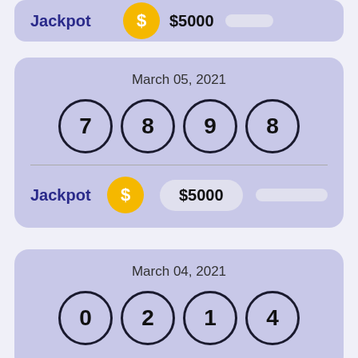[Figure (infographic): Partial lottery card showing Jackpot label, dollar coin icon, and $5000 amount]
[Figure (infographic): Lottery draw card for March 05, 2021 showing balls 7, 8, 9, 8 and Jackpot of $5000]
[Figure (infographic): Partial lottery draw card for March 04, 2021 showing balls 0, 2, 1, 4]